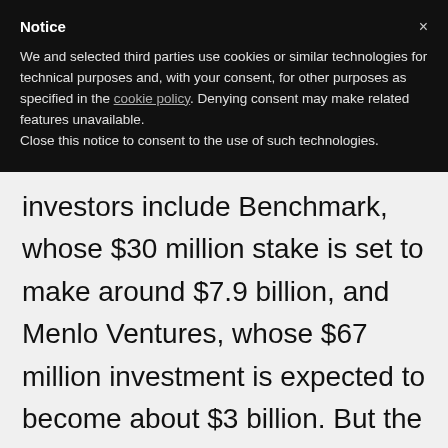Notice
We and selected third parties use cookies or similar technologies for technical purposes and, with your consent, for other purposes as specified in the cookie policy. Denying consent may make related features unavailable.
Close this notice to consent to the use of such technologies.
investors include Benchmark, whose $30 million stake is set to make around $7.9 billion, and Menlo Ventures, whose $67 million investment is expected to become about $3 billion. But the question for the public is, should we join in? What can academic research tell us?